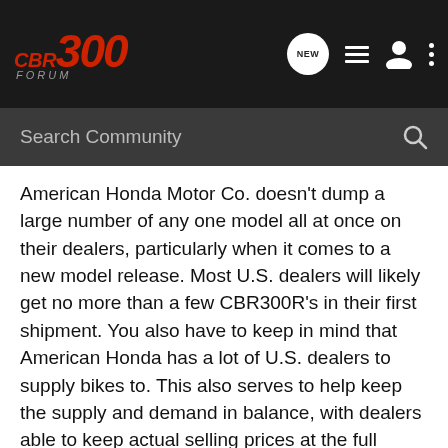CBR300 FORUM — navigation bar with search
American Honda Motor Co. doesn't dump a large number of any one model all at once on their dealers, particularly when it comes to a new model release. Most U.S. dealers will likely get no more than a few CBR300R's in their first shipment. You also have to keep in mind that American Honda has a lot of U.S. dealers to supply bikes to. This also serves to help keep the supply and demand in balance, with dealers able to keep actual selling prices at the full MSRP. If your looking to buy a CBR300R this year, don't expect any discounted prices as the demand will likely be high for this bike, just as it was for the CBR250R for the first two model years.
"Machines never lie.
Success will always come if they're really good.